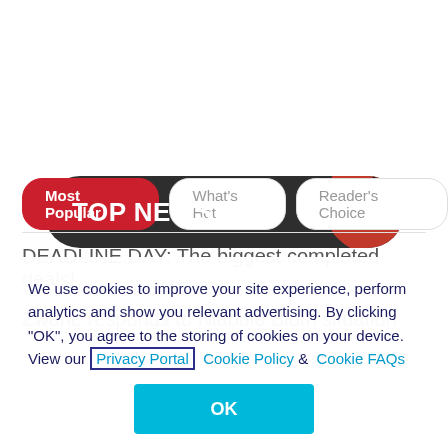[Figure (other): TOP NEWS banner with dark rounded rectangle background and red/black soccer ball on the right]
Most Popular | What's Hot | Reader's Choice (tab buttons)
DEADLINE DAY: The biggest completed deals!
Zwane responds to Niabulo Blom situation
We use cookies to improve your site experience, perform analytics and show you relevant advertising. By clicking "OK", you agree to the storing of cookies on your device. View our Privacy Portal   Cookie Policy &  Cookie FAQs
OK